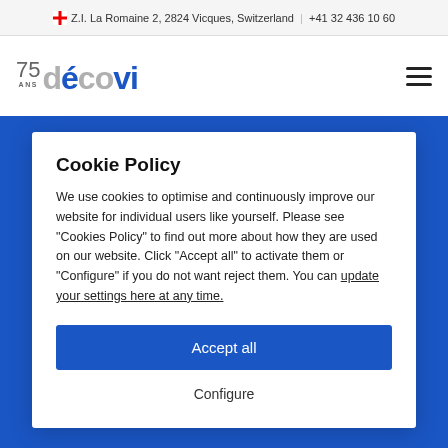Z.I. La Romaine 2, 2824 Vicques, Switzerland  |  +41 32 436 10 60
[Figure (logo): Décovi company logo with 75 ANS anniversary badge]
Cookie Policy
We use cookies to optimise and continuously improve our website for individual users like yourself. Please see "Cookies Policy" to find out more about how they are used on our website. Click "Accept all" to activate them or "Configure" if you do not want reject them. You can update your settings here at any time.
Accept all
Configure